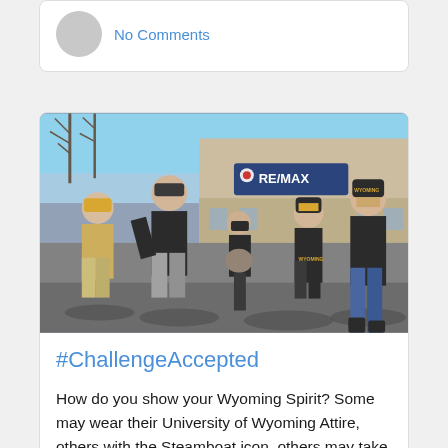No Comments
[Figure (photo): Outdoor street parade scene with people walking in front of a RE/MAX building. People are wearing University of Wyoming black and gold attire including hats, jerseys, and a beanie that says WYOMING. The scene is on a sunny day with shadows on the pavement.]
#ChallengeAccepted
How do you show your Wyoming Spirit? Some may wear their University of Wyoming Attire, others with the Steamboat icon, others may take it to the